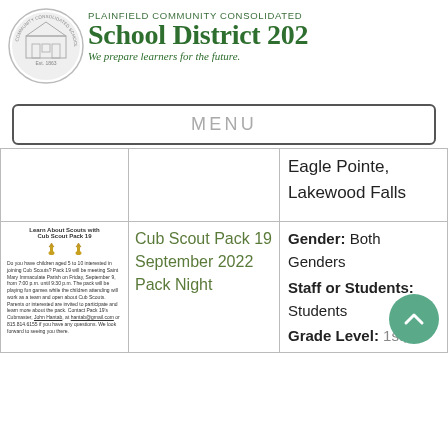[Figure (logo): Plainfield Community Consolidated School District 202 circular seal logo]
PLAINFIELD COMMUNITY CONSOLIDATED SCHOOL DISTRICT 202
We prepare learners for the future.
MENU
|  |  |  |
| --- | --- | --- |
|  |  | Eagle Pointe, Lakewood Falls |
| Learn About Scouts with Cub Scout Pack 19 [flyer] | Cub Scout Pack 19 September 2022 Pack Night | Gender: Both Genders
Staff or Students: Students
Grade Level: 1st, |